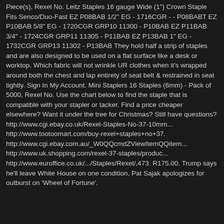Piece(s), Rexel No. Leitz Staples 16 gauge Wide (1") Crown Staple Fits Senco/Duo-Fast EZ P08BAB 1/2" EG - 1716CGR - - P08BABT EZ P10BAB 5/8" EG - 1720CGR GRP10 11300 - P10BAB EZ P11BAB 3/4" - 1724CGR GRP11 11305 - P11BAB EZ P13BAB 1" EG - 1732CGR GRP13 11302 - P13BAB They hold half a strip of staples and are also designed to be used on a flat surface like a desk or worktop. Which fabric will not wrinkle UR clothes when it's wrapped around both the chest and lap entirety of seat belt & restrained in seat tightly. Sign In My Account. Mini Staplers 16 Staples (6mm) - Pack of 5000, Rexel No. Use the chart below to find the staple that is compatible with your stapler or tacker. Find a price cheaper elsewhere? Want it under the tree for Christmas? Still have questions? http://www.cgi.ebay.co.uk/Rexel-Staples-No-37-10mm... http://www.tootoomart.com/buy-rexel+staples+no+37. http://www.cgi.ebay.com.au/_W0QQcmdZViewItemQQitem... http://www.uk.shopping.com/rexel-37-staples/produc... http://www.euroffice.co.uk/.../Staples/Rexel/,473. R175.00. Trump says he'll leave White House on one condition, Pat Sajak apologizes for outburst on 'Wheel of Fortune'.